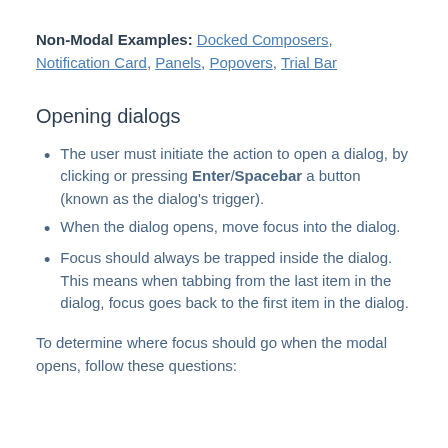Non-Modal Examples: Docked Composers, Notification Card, Panels, Popovers, Trial Bar
Opening dialogs
The user must initiate the action to open a dialog, by clicking or pressing Enter/Spacebar a button (known as the dialog's trigger).
When the dialog opens, move focus into the dialog.
Focus should always be trapped inside the dialog. This means when tabbing from the last item in the dialog, focus goes back to the first item in the dialog.
To determine where focus should go when the modal opens, follow these questions: